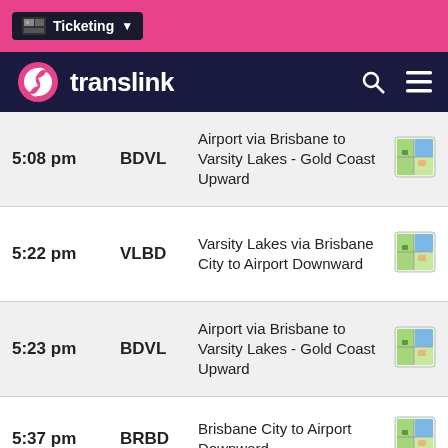Ticketing
translink
| Time | Code | Description | Map |
| --- | --- | --- | --- |
| 5:08 pm | BDVL | Airport via Brisbane to Varsity Lakes - Gold Coast Upward | map |
| 5:22 pm | VLBD | Varsity Lakes via Brisbane City to Airport Downward | map |
| 5:23 pm | BDVL | Airport via Brisbane to Varsity Lakes - Gold Coast Upward | map |
| 5:37 pm | BRBD | Brisbane City to Airport Downward | map |
| 5:38 pm | BDVL | Airport via Brisbane to ... | map |